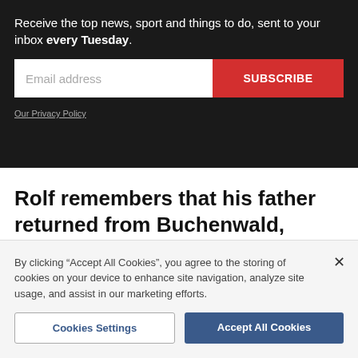Receive the top news, sport and things to do, sent to your inbox every Tuesday.
[Figure (screenshot): Email subscription form with email address input field and red SUBSCRIBE button]
Our Privacy Policy
Rolf remembers that his father returned from Buchenwald, where he had dug his own grave, in a
By clicking "Accept All Cookies", you agree to the storing of cookies on your device to enhance site navigation, analyze site usage, and assist in our marketing efforts.
Cookies Settings
Accept All Cookies